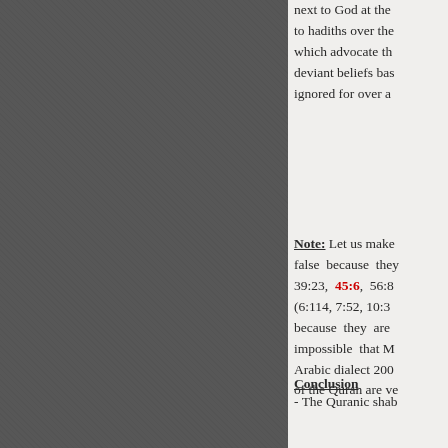[Figure (illustration): Dark gray textured background occupying the left two-thirds of the page]
next to God at the... to hadiths over the... which advocate th... deviant beliefs bas... ignored for over a...
Note: Let us make... false because they... 39:23, 45:6, 56:8... (6:114, 7:52, 10:3... because they are... impossible that M... Arabic dialect 200... of the Quran are ve...
Conclusion
- The Quranic shab...
□□.
□□□□□□□□□□ □...